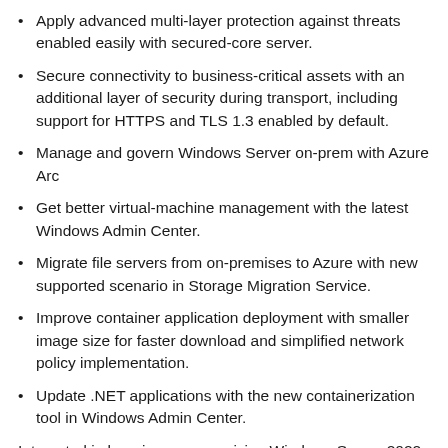Apply advanced multi-layer protection against threats enabled easily with secured-core server.
Secure connectivity to business-critical assets with an additional layer of security during transport, including support for HTTPS and TLS 1.3 enabled by default.
Manage and govern Windows Server on-prem with Azure Arc
Get better virtual-machine management with the latest Windows Admin Center.
Migrate file servers from on-premises to Azure with new supported scenario in Storage Migration Service.
Improve container application deployment with smaller image size for faster download and simplified network policy implementation.
Update .NET applications with the new containerization tool in Windows Admin Center.
Interested in learning more or giving Windows Server 2022 a try?